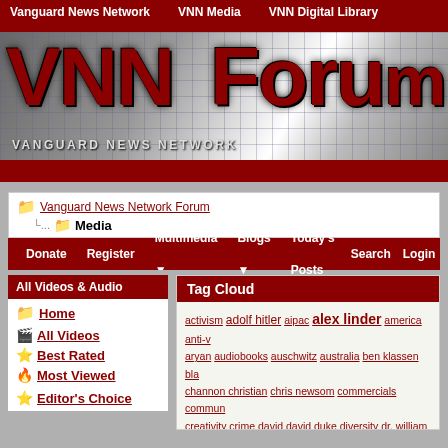Vanguard News Network | VNN Media | VNN Digital Library
[Figure (logo): VNN Forum banner logo with red metallic text on grid background reading VNN FORUM, subtitle VANGUARD NEWS NETWORK]
Vanguard News Network Forum > Media
Donate | Register | Multimedia | Blogs | Today's Posts | Search | Login
All Videos & Audio
Home
All Videos
Best Rated
Most Viewed
Editor's Choice
Tag Cloud
activism adolf hitler aipac alex linder america anti-v aryan audiobooks auschwitz australia ben klassen bla channon christian chris newsom commercials commun creativity crime david david duke diversity dr. william germany golden dawn greece history hitler holocau immigration invasion iran israel jew jewish jewish m knoxville learning college matt hale media mossad m